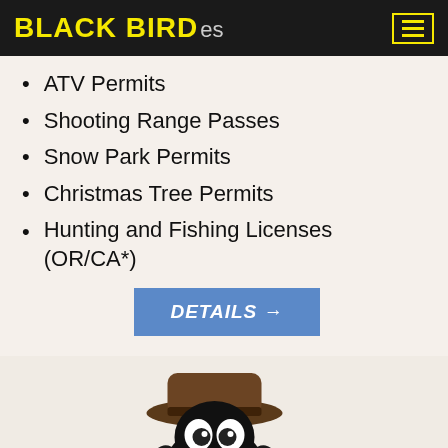BLACK BIRD es
ATV Permits
Shooting Range Passes
Snow Park Permits
Christmas Tree Permits
Hunting and Fishing Licenses (OR/CA*)
DETAILS →
[Figure (illustration): Cartoon black bird mascot wearing a brown ranger hat and holding a fish]